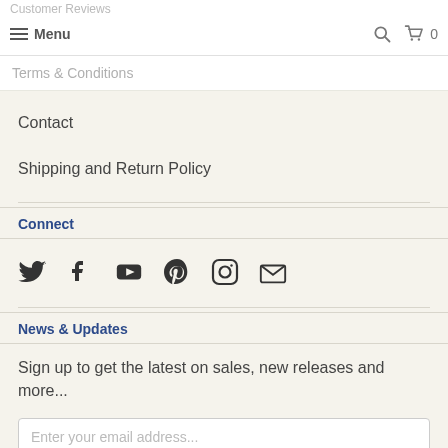Menu | Customer Reviews | Terms & Conditions
Contact
Shipping and Return Policy
Connect
[Figure (infographic): Row of social media icons: Twitter, Facebook, YouTube, Pinterest, Instagram, Email]
News & Updates
Sign up to get the latest on sales, new releases and more...
Enter your email address...